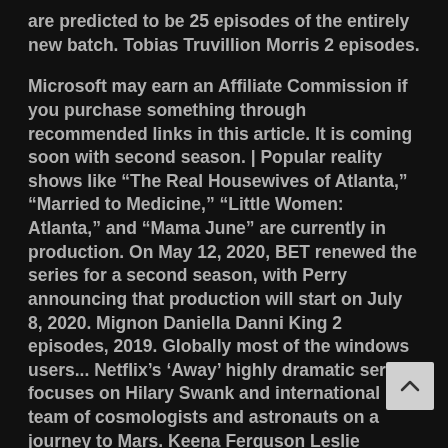are predicted to be 25 episodes of the entirely new batch. Tobias Truvillion Morris 2 episodes.
Microsoft may earn an Affiliate Commission if you purchase something through recommended links in this article. It is coming soon with second season. | Popular reality shows like “The Real Housewives of Atlanta,” “Married to Medicine,” “Little Women: Atlanta,” and “Mama June” are currently in production. On May 12, 2020, BET renewed the series for a second season, with Perry announcing that production will start on July 8, 2020. Mignon Daniella Danni King 2 episodes, 2019. Globally most of the windows users... Netflix’s ‘Away’ highly dramatic series focuses on Hilary Swank and international team of cosmologists and astronauts on a journey to Mars. Keena Ferguson Leslie Davenport 2